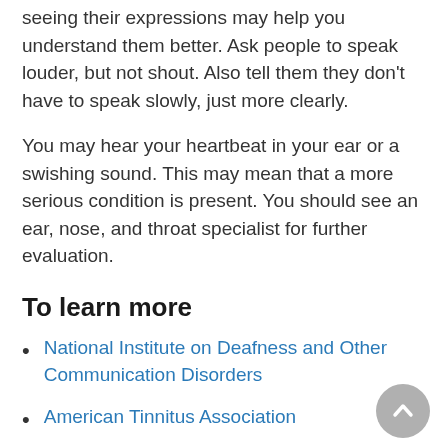seeing their expressions may help you understand them better. Ask people to speak louder, but not shout. Also tell them they don't have to speak slowly, just more clearly.
You may hear your heartbeat in your ear or a swishing sound. This may mean that a more serious condition is present. You should see an ear, nose, and throat specialist for further evaluation.
To learn more
National Institute on Deafness and Other Communication Disorders
American Tinnitus Association
American Academy of Otolaryngology-Head and Neck Surgery
American Academy of Audiology
American Speech-Language Hearing Association